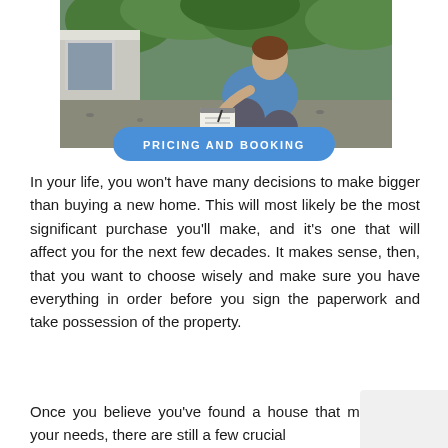[Figure (photo): A man in a blue t-shirt crouching outside a building near green bushes, writing on a clipboard or notepad. Gravel ground visible beneath him.]
PRICING AND BOOKING
In your life, you won't have many decisions to make bigger than buying a new home. This will most likely be the most significant purchase you'll make, and it's one that will affect you for the next few decades. It makes sense, then, that you want to choose wisely and make sure you have everything in order before you sign the paperwork and take possession of the property.
Once you believe you've found a house that meets your needs, there are still a few crucial